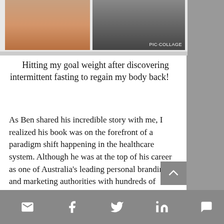[Figure (photo): A photo collage showing two images side by side: left image shows a person's legs/lower body, right image shows a person standing outdoors. 'PIC·COLLAGE' watermark visible on right photo.]
Hitting my goal weight after discovering intermittent fasting to regain my body back!
As Ben shared his incredible story with me, I realized his book was on the forefront of a paradigm shift happening in the healthcare system. Although he was at the top of his career as one of Australia's leading personal branding and marketing authorities with hundreds of thousands of followers, show cased in many magazine's and